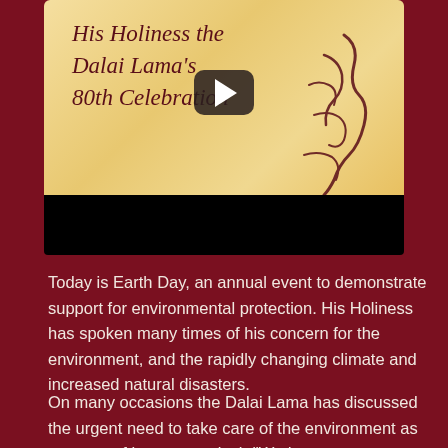[Figure (screenshot): Video thumbnail showing a parchment-style background with cursive text reading 'His Holiness the Dalai Lama's 80th Celebration' and Tibetan script on the right, with a YouTube-style play button overlay and a black bar at the bottom.]
Today is Earth Day, an annual event to demonstrate support for environmental protection. His Holiness has spoken many times of his concern for the environment, and the rapidly changing climate and increased natural disasters.
On many occasions the Dalai Lama has discussed the urgent need to take care of the environment as a matter of human survival; “We have